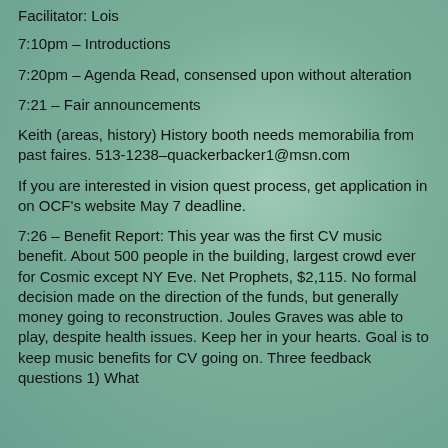Facilitator: Lois
7:10pm – Introductions
7:20pm – Agenda Read, consensed upon without alteration
7:21 – Fair announcements
Keith (areas, history) History booth needs memorabilia from past faires. 513-1238–quackerbacker1@msn.com
If you are interested in vision quest process, get application in on OCF's website May 7 deadline.
7:26 – Benefit Report: This year was the first CV music benefit. About 500 people in the building, largest crowd ever for Cosmic except NY Eve. Net Prophets, $2,115. No formal decision made on the direction of the funds, but generally money going to reconstruction. Joules Graves was able to play, despite health issues. Keep her in your hearts. Goal is to keep music benefits for CV going on. Three feedback questions 1) What